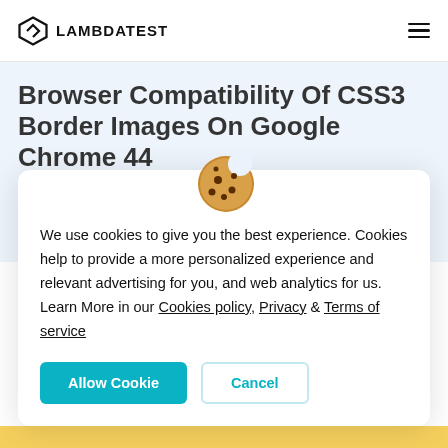LAMBDATEST
Browser Compatibility Of CSS3 Border Images On Google Chrome 44
We use cookies to give you the best experience. Cookies help to provide a more personalized experience and relevant advertising for you, and web analytics for us. Learn More in our Cookies policy, Privacy & Terms of service
Allow Cookie | Cancel